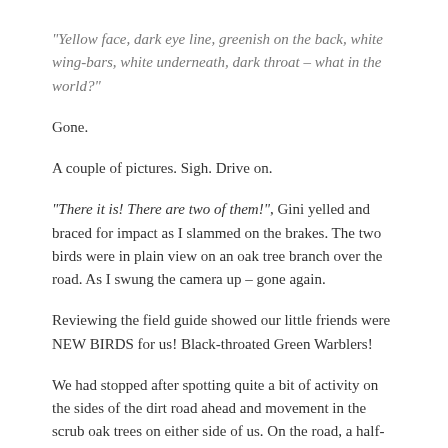“Yellow face, dark eye line, greenish on the back, white wing-bars, white underneath, dark throat – what in the world?”
Gone.
A couple of pictures. Sigh. Drive on.
“There it is! There are two of them!”, Gini yelled and braced for impact as I slammed on the brakes. The two birds were in plain view on an oak tree branch over the road. As I swung the camera up – gone again.
Reviewing the field guide showed our little friends were NEW BIRDS for us! Black-throated Green Warblers!
We had stopped after spotting quite a bit of activity on the sides of the dirt road ahead and movement in the scrub oak trees on either side of us. On the road, a half-dozen Palm